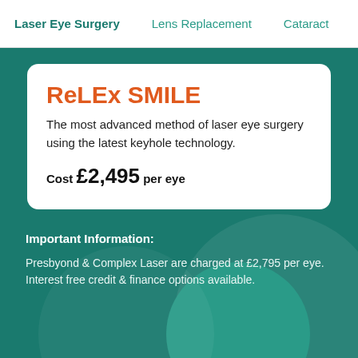Laser Eye Surgery | Lens Replacement | Cataract
ReLEx SMILE
The most advanced method of laser eye surgery using the latest keyhole technology.
Cost £2,495 per eye
Important Information:
Presbyond & Complex Laser are charged at £2,795 per eye. Interest free credit & finance options available.